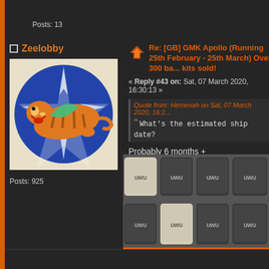Posts: 13
Zeelobby
[Figure (photo): Avatar of Zeelobby: a flying tiger insignia on a blue circular badge]
Posts: 925
Re: [GB] GMK Apollo (Running 25th February - 25th March) Over 300 base kits sold!
« Reply #43 on: Sat, 07 March 2020, 16:30:13 »
Quote from: Hemenah on Sat, 07 March 2020, 16:2...
What's the estimated ship date?
Probably 6 months +
[Figure (photo): Keyboard keycaps arranged in a grid, alternating light cream and dark colors, each labeled uwu]
asianfork
Re: [GB] GMK Apollo (Running 25th February - 25th March) Over 300 base kits sold!